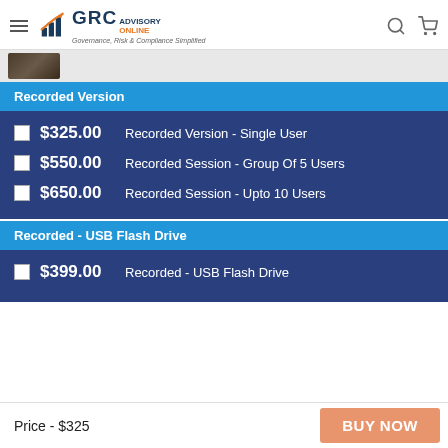GRC Advisory Online — Governance, Risk & Compliance Simplified
[Figure (screenshot): Partial thumbnail image of a person]
Recorded Version
$325.00  Recorded Version - Single User
$550.00  Recorded Session - Group Of 5 Users
$650.00  Recorded Session - Upto 10 Users
Recorded - USB Flash Drive
$399.00  Recorded - USB Flash Drive
Price - $325    BUY NOW